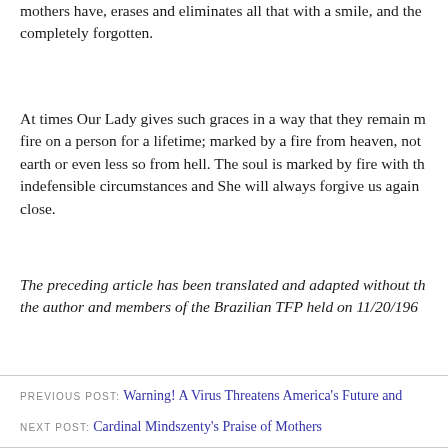mothers have, erases and eliminates all that with a smile, and the completely forgotten.
At times Our Lady gives such graces in a way that they remain m fire on a person for a lifetime; marked by a fire from heaven, not earth or even less so from hell. The soul is marked by fire with th indefensible circumstances and She will always forgive us again close.
The preceding article has been translated and adapted without th the author and members of the Brazilian TFP held on 11/20/196
PREVIOUS POST: Warning! A Virus Threatens America's Future and
NEXT POST: Cardinal Mindszenty's Praise of Mothers